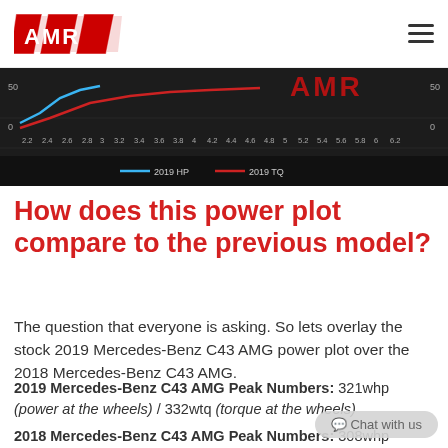AMR (logo) | hamburger menu
[Figure (continuous-plot): Dark background dyno chart showing 2019 HP (blue line) and 2019 TQ (red line) power plot for Mercedes-Benz C43 AMG. X-axis ranges from 2.2 to 6.2 (RPM x1000). Y-axis shows 0 and 50. AMR logo visible in top right of chart. Legend shows: 2019 HP (blue), 2019 TQ (red).]
How does this power plot compare to the previous model?
The question that everyone is asking. So lets overlay the stock 2019 Mercedes-Benz C43 AMG power plot over the 2018 Mercedes-Benz C43 AMG.
2019 Mercedes-Benz C43 AMG Peak Numbers: 321whp (power at the wheels) / 332wtq (torque at the wheels)
2018 Mercedes-Benz C43 AMG Peak Numbers: 308whp